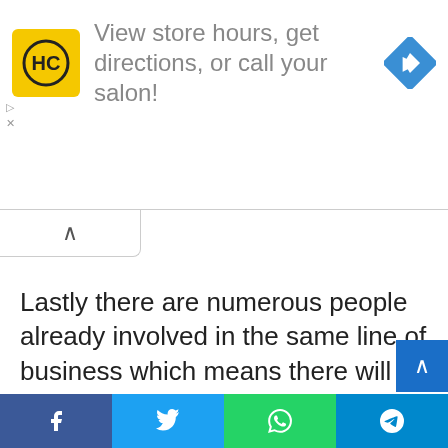[Figure (screenshot): Advertisement banner for HC (Hair Club or similar) salon: yellow square logo with HC text, ad text 'View store hours, get directions, or call your salon!', blue navigation diamond icon on right. Small play and X controls on left side.]
Lastly there are numerous people already involved in the same line of business which means there will be lots of competition for customers.
It will only take a business owner who is innovative, driven, committed and determined to thrive in this very lucrative but challenging line of